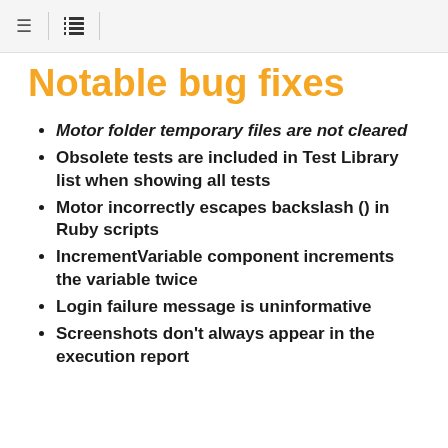≡ | ☰
Notable bug fixes
Motor folder temporary files are not cleared
Obsolete tests are included in Test Library list when showing all tests
Motor incorrectly escapes backslash () in Ruby scripts
IncrementVariable component increments the variable twice
Login failure message is uninformative
Screenshots don't always appear in the execution report